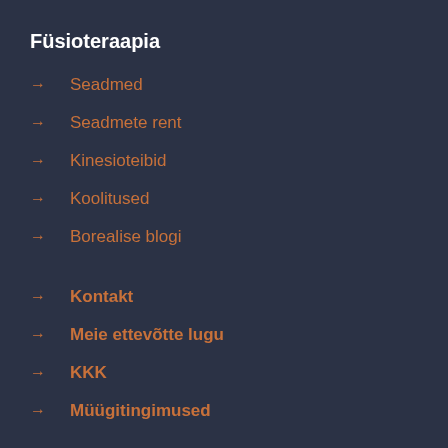Füsioteraapia
→ Seadmed
→ Seadmete rent
→ Kinesioteibid
→ Koolitused
→ Borealise blogi
→ Kontakt
→ Meie ettevõtte lugu
→ KKK
→ Müügitingimused